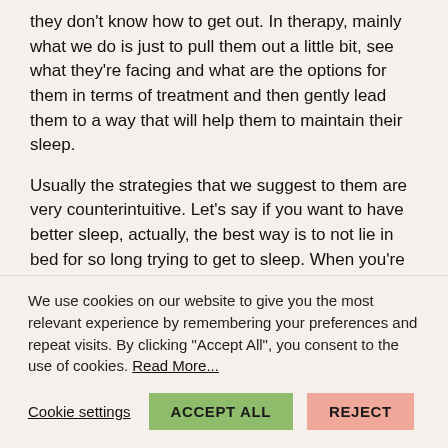they don't know how to get out. In therapy, mainly what we do is just to pull them out a little bit, see what they're facing and what are the options for them in terms of treatment and then gently lead them to a way that will help them to maintain their sleep.
Usually the strategies that we suggest to them are very counterintuitive. Let's say if you want to have better sleep, actually, the best way is to not lie in bed for so long trying to get to sleep. When you're dying to get to sleep, perhaps the best way to help you to sleep is to regulate your sleep so that your sleep could be consolidated. You will be craving for sleep at the right time so that you can control the timing of sleep and you don't have to wait for hours in bed, tossing and turning and yet, sleep doesn't come.
We use cookies on our website to give you the most relevant experience by remembering your preferences and repeat visits. By clicking "Accept All", you consent to the use of cookies. Read More...